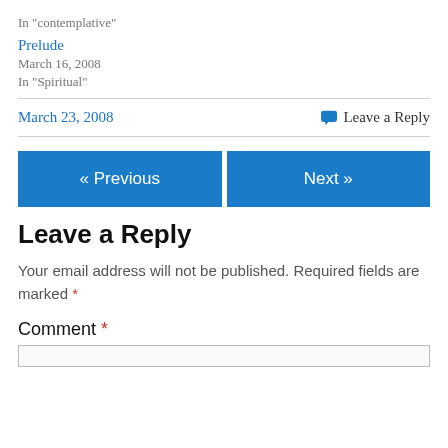In "contemplative"
Prelude
March 16, 2008
In "Spiritual"
March 23, 2008   Leave a Reply
« Previous   Next »
Leave a Reply
Your email address will not be published. Required fields are marked *
Comment *